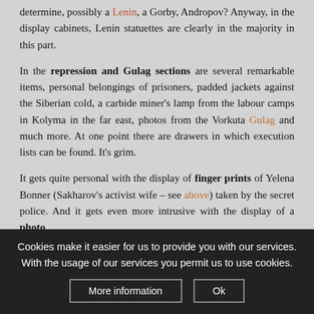determine, possibly a Lenin, a Gorby, Andropov? Anyway, in the display cabinets, Lenin statuettes are clearly in the majority in this part.
In the repression and Gulag sections are several remarkable items, personal belongings of prisoners, padded jackets against the Siberian cold, a carbide miner's lamp from the labour camps in Kolyma in the far east, photos from the Vorkuta Gulag and much more. At one point there are drawers in which execution lists can be found. It's grim.
It gets quite personal with the display of finger prints of Yelena Bonner (Sakharov's activist wife – see above) taken by the secret police. And it gets even more intrusive with the display of a photo
Cookies make it easier for us to provide you with our services. With the usage of our services you permit us to use cookies.